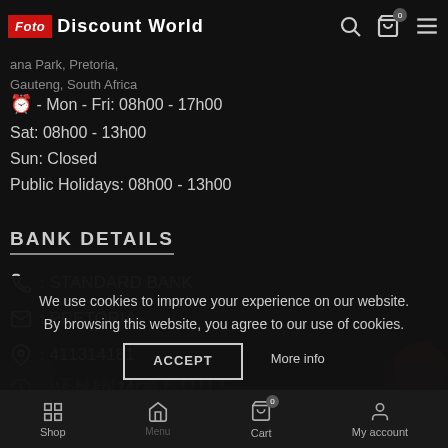Foto Discount World
sales@fotodiscountworld.co.za
ana Park, Pretoria, Gauteng, South Africa
Mon - Fri: 08h00 - 17h00
Sat: 08h00 - 13h00
Sun: Closed
Public Holidays: 08h00 - 13h00
BANK DETAILS
: STANDARD BANK
: PRETORIA
: 411314181
: Website 24/7
We use cookies to improve your experience on our website. By browsing this website, you agree to our use of cookies.
ACCEPT   More info
Shop   Cart   My account